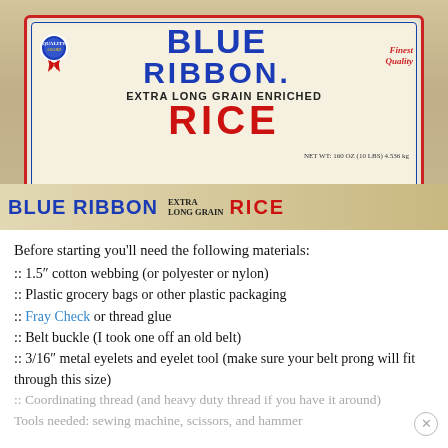[Figure (photo): A large bag of Blue Ribbon Extra Long Grain Enriched Rice, showing a white and red label with a blue ribbon medal, the brand name 'BLUE RIBBON.' in large blue letters, 'EXTRA LONG GRAIN ENRICHED' in black, and 'RICE' in large red letters. The bottom of the bag shows the brand name again in blue with 'EXTRA LONG GRAIN RICE' and a red 'RICE' text.]
Before starting you'll need the following materials:
:: 1.5″ cotton webbing (or polyester or nylon)
:: Plastic grocery bags or other plastic packaging
:: Fray Check or thread glue
:: Belt buckle (I took one off an old belt)
:: 3/16″ metal eyelets and eyelet tool (make sure your belt prong will fit through this size)
:: Coordinating thread (and heavy duty thread if you have it around)
Tools needed: sewing machine, scissors, and hammer